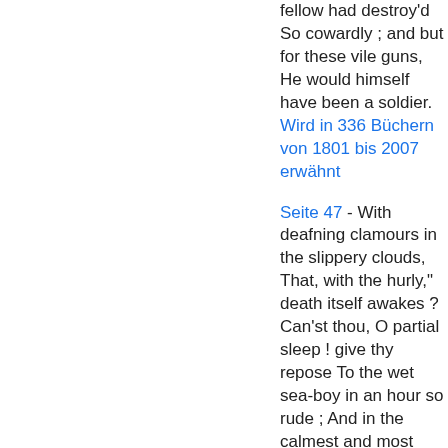fellow had destroy'd So cowardly ; and but for these vile guns, He would himself have been a soldier.
Wird in 336 Büchern von 1801 bis 2007 erwähnt
Seite 47 - With deafning clamours in the slippery clouds, That, with the hurly," death itself awakes ? Can'st thou, O partial sleep ! give thy repose To the wet sea-boy in an hour so rude ; And in the calmest and most stillest night, With all appliances and means to boot, Deny it to a king? Then, happy low, lie down ! Uneasy lies the head that wears a crown.